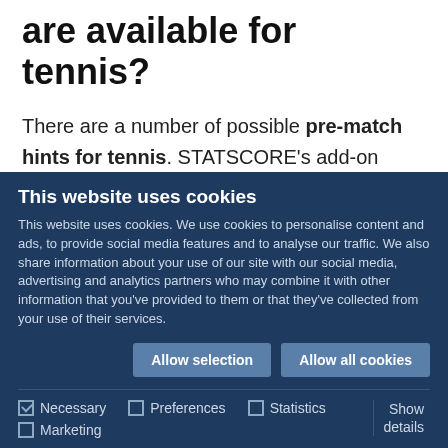are available for tennis?
There are a number of possible pre-match hints for tennis. STATSCORE's add-on provides the most relevant, data-based tips designed to encourage more bets placed on tennis matches.
Let's take a look at some examples:
This website uses cookies
This website uses cookies. We use cookies to personalise content and ads, to provide social media features and to analyse our traffic. We also share information about your use of our site with our social media, advertising and analytics partners who may combine it with other information that you've provided to them or that they've collected from your use of their services.
Allow selection | Allow all cookies
Necessary | Preferences | Statistics | Marketing | Show details